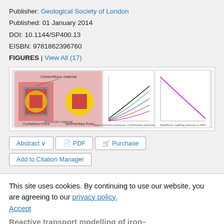Publisher: Geological Society of London
Published: 01 January 2014
DOI: 10.1144/SP400.13
EISBN: 9781862396760
FIGURES | View All (17)
[Figure (illustration): Scientific figures showing cross-sections of crystalline rock and sedimentary rock with cementitious and bentonite materials, plus two graphs with curves related to saturation and pressure data.]
Abstract  PDF  Purchase  Add to Citation Manager
This site uses cookies. By continuing to use our website, you are agreeing to our privacy policy. Accept
Reactive transport modelling of iron–bentonite interaction within the KBS-3H